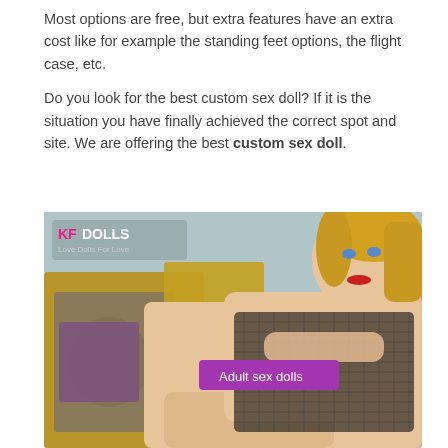Most options are free, but extra features have an extra cost like for example the standing feet options, the flight case, etc.
Do you look for the best custom sex doll? If it is the situation you have finally achieved the correct spot and site. We are offering the best custom sex doll.
[Figure (photo): Photo of a realistic adult sex doll with blonde hair, red lips, wearing a black fishnet outfit, reclining on a couch with decorative pillows. The image has a KFDOLLS logo watermark in the top left and a purple label reading 'Adult sex dolls' overlaid in the center-right area.]